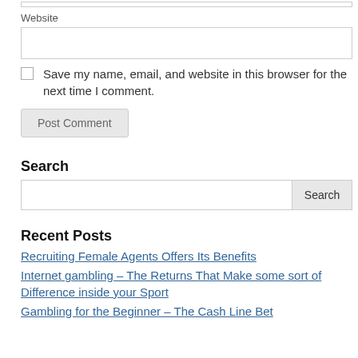Website
Save my name, email, and website in this browser for the next time I comment.
Post Comment
Search
Search
Recent Posts
Recruiting Female Agents Offers Its Benefits
Internet gambling – The Returns That Make some sort of Difference inside your Sport
Gambling for the Beginner – The Cash Line Bet